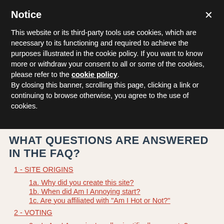Notice
This website or its third-party tools use cookies, which are necessary to its functioning and required to achieve the purposes illustrated in the cookie policy. If you want to know more or withdraw your consent to all or some of the cookies, please refer to the cookie policy.
By closing this banner, scrolling this page, clicking a link or continuing to browse otherwise, you agree to the use of cookies.
WHAT QUESTIONS ARE ANSWERED IN THE FAQ?
1 - SITE ORIGINS
1a. Why did you create this site?
1b. When did Am I Annoying start?
1c. Are you affiliated with "Am I Hot or Not?"
2 - VOTING
2a. Is Am I Annoying's poll scientifically accurate?
2b. Where can I find a voter list of the most & least